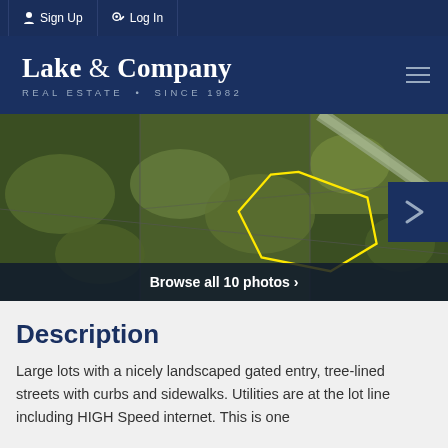Sign Up | Log In
Lake & Company
REAL ESTATE • SINCE 1982
[Figure (photo): Aerial photograph of a wooded lot with a yellow polygon boundary drawn over the property, and a curved road visible in the upper right.]
Browse all 10 photos
Description
Large lots with a nicely landscaped gated entry, tree-lined streets with curbs and sidewalks. Utilities are at the lot line including HIGH Speed internet. This is one